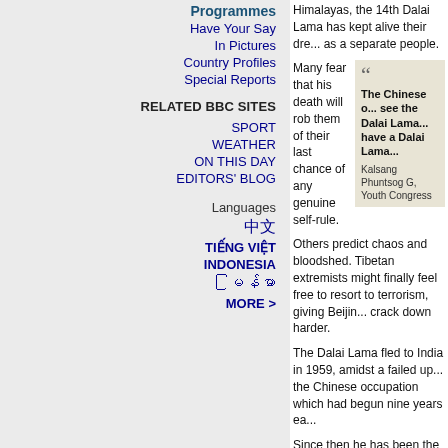Programmes
Have Your Say
In Pictures
Country Profiles
Special Reports
RELATED BBC SITES
SPORT
WEATHER
ON THIS DAY
EDITORS' BLOG
Languages
中文
TIẾNG VIỆT
INDONESIA
မြန်မာ
MORE >
Himalayas, the 14th Dalai Lama has kept alive their dream of remaining as a separate people.
Many fear that his death will rob them of their last chance of any genuine self-rule.
The Chinese do not see the Dalai Lama and have a Dalai Lama — Kalsang Phuntsog G, Youth Congress
Others predict chaos and bloodshed. Tibetan extremists might finally feel free to resort to terrorism, giving Beijing an excuse to crack down harder.
The Dalai Lama fled to India in 1959, amidst a failed uprising against the Chinese occupation which had begun nine years earlier.
Since then he has been the face of Tibet for the outside world. He has won the Nobel Peace Prize, the public backing of film stars and the private support of presidents and prime ministers.
But no country recognises his government-in-exile.
And as China's power grows there are few who even dare to make claims over Tibet.
The Dalai Lama has become more important than ever to Tibetans since he left his homeland, according to Phuntsog Wangyal, who also fled in 1959 after taking up arms against the Chinese.
[Figure (photo): Photo of a Tibetan man wearing a yellow lanyard, holding a portrait, with crowd in background]